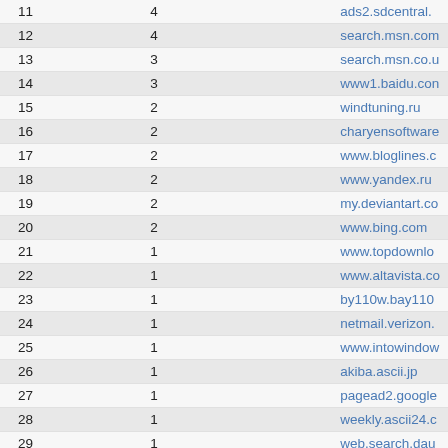|  |  |  |
| --- | --- | --- |
| 11 | 4 | ads2.sdcentral. |
| 12 | 4 | search.msn.com |
| 13 | 3 | search.msn.co.u |
| 14 | 3 | www1.baidu.con |
| 15 | 2 | windtuning.ru |
| 16 | 2 | charyensoftware |
| 17 | 2 | www.bloglines.c |
| 18 | 2 | www.yandex.ru |
| 19 | 2 | my.deviantart.co |
| 20 | 2 | www.bing.com |
| 21 | 1 | www.topdownlo |
| 22 | 1 | www.altavista.co |
| 23 | 1 | by110w.bay110 |
| 24 | 1 | netmail.verizon. |
| 25 | 1 | www.intowindow |
| 26 | 1 | akiba.ascii.jp |
| 27 | 1 | pagead2.google |
| 28 | 1 | weekly.ascii24.c |
| 29 | 1 | web.search.dau |
| 30 | 1 | co103w.col103. |
| 31 | 1 | www.essorant.c |
| 32 | 1 | fab-phone.blogs |
| 33 | 1 | image.vodao.co |